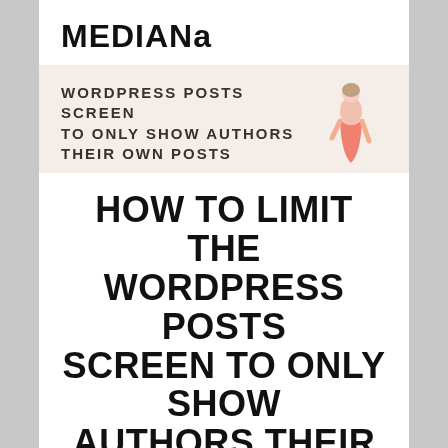MEDIANA
WORDPRESS POSTS SCREEN TO ONLY SHOW AUTHORS THEIR OWN POSTS
[Figure (illustration): A woman in a pink/coral dress, cropped, standing against a light background, shown in the banner area]
HOW TO LIMIT THE WORDPRESS POSTS SCREEN TO ONLY SHOW AUTHORS THEIR OWN POSTS
01 Mai 2013, Posted by antoine in